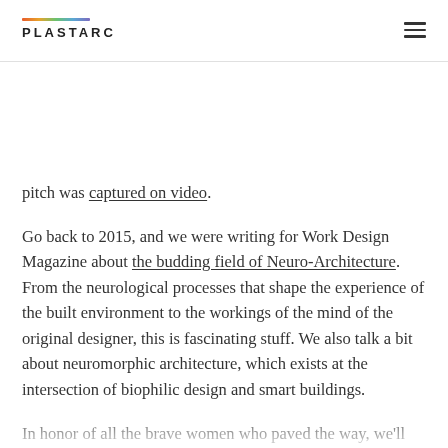PLASTARC
pitch was captured on video.
Go back to 2015, and we were writing for Work Design Magazine about the budding field of Neuro-Architecture. From the neurological processes that shape the experience of the built environment to the workings of the mind of the original designer, this is fascinating stuff. We also talk a bit about neuromorphic architecture, which exists at the intersection of biophilic design and smart buildings.
In honor of all the brave women who paved the way, we'll leave you with this great short film from the wizards at Pixar. Now we'd love to hear